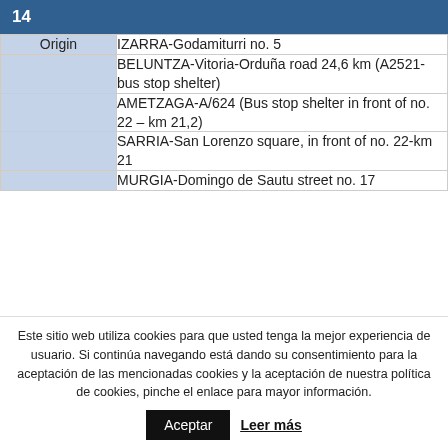|  |  |
| --- | --- |
| Origin | IZARRA-Godamiturri no. 5 |
|  | BELUNTZA-Vitoria-Orduña road 24,6 km (A2521-bus stop shelter) |
|  | AMETZAGA-A/624 (Bus stop shelter in front of no. 22 – km 21,2) |
|  | SARRIA-San Lorenzo square, in front of no. 22-km 21 |
|  | MURGIA-Domingo de Sautu street no. 17 |
Este sitio web utiliza cookies para que usted tenga la mejor experiencia de usuario. Si continúa navegando está dando su consentimiento para la aceptación de las mencionadas cookies y la aceptación de nuestra política de cookies, pinche el enlace para mayor información.
Aceptar  Leer más